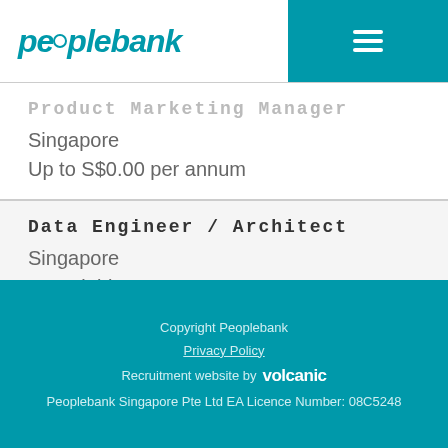peoplebank
Product Marketing Manager
Singapore
Up to S$0.00 per annum
Data Engineer / Architect
Singapore
Negotiable
Copyright Peoplebank
Privacy Policy
Recruitment website by volcanic
Peoplebank Singapore Pte Ltd EA Licence Number: 08C5248